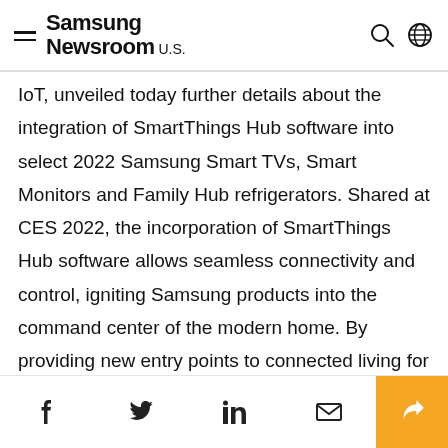Samsung Newsroom U.S.
IoT, unveiled today further details about the integration of SmartThings Hub software into select 2022 Samsung Smart TVs, Smart Monitors and Family Hub refrigerators. Shared at CES 2022, the incorporation of SmartThings Hub software allows seamless connectivity and control, igniting Samsung products into the command center of the modern home. By providing new entry points to connected living for tens of millions of homes, consumers can easily turn their home into a smart home.
Social share icons: Facebook, Twitter, LinkedIn, Email, Share